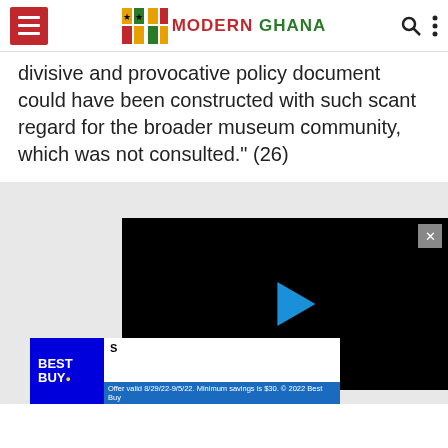Modern Ghana
divisive and provocative policy document could have been constructed with such scant regard for the broader museum community, which was not consulted." (26)
[Figure (screenshot): Video player with black background and blue play button, with a close X button in top right corner. Below is a Best Buy advertisement with text: Offer valid 8/29/22-9/5/22. Minimum savings is $30. © 2022 Best Buy]